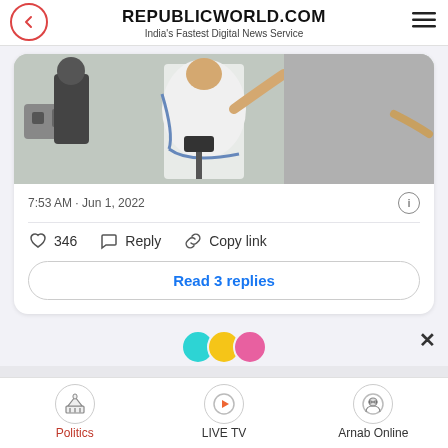REPUBLICWORLD.COM
India's Fastest Digital News Service
[Figure (photo): A person dressed in white garment at a press event with cameras and media around]
7:53 AM · Jun 1, 2022
346   Reply   Copy link
Read 3 replies
Politics   LIVE TV   Arnab Online